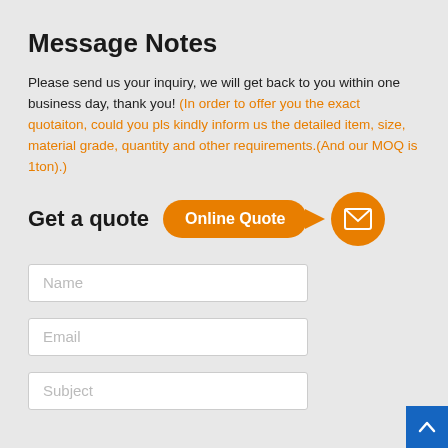Message Notes
Please send us your inquiry, we will get back to you within one business day, thank you! (In order to offer you the exact quotaiton, could you pls kindly inform us the detailed item, size, material grade, quantity and other requirements.(And our MOQ is 1ton).)
Get a quote
[Figure (infographic): Orange speech bubble button labeled 'Online Quote' with arrow pointing to orange circle with envelope/mail icon]
Name
Email
Subject